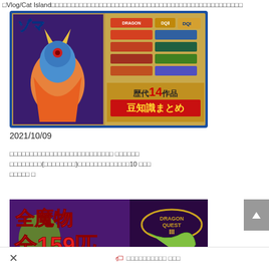□Vlog/Cat Island□□□□□□□□□□□□□□□□□□□□□□□□□□□□□□□□□□□□□□□
[Figure (screenshot): Dragon Quest game thumbnail featuring a blue demon boss character (Zoma) with Japanese text '歴代14作品 豆知識まとめ' (trivia compilation of 14 games) and logos of various Dragon Quest titles on a parchment-style background with blue border.]
2021/10/09
□□□□□□□□□□□□□□□□□□□□□□□□□□ □□□□□□ □□□□□□□□(□□□□□□□□)□□□□□□□□□□□□□10 □□□ □□□□□ □
[Figure (screenshot): Dragon Quest III thumbnail showing '全魔物 全159匹' (All monsters 159) in large red text on a purple background with monster characters and Dragon Quest III logo.]